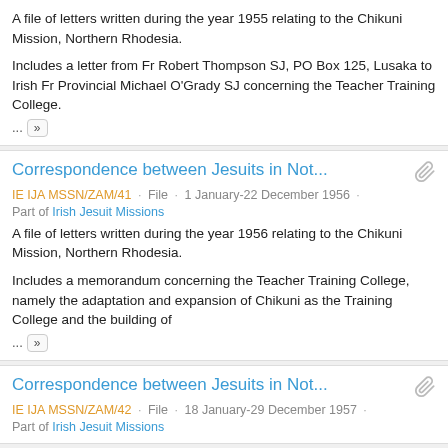A file of letters written during the year 1955 relating to the Chikuni Mission, Northern Rhodesia.
Includes a letter from Fr Robert Thompson SJ, PO Box 125, Lusaka to Irish Fr Provincial Michael O'Grady SJ concerning the Teacher Training College.
Correspondence between Jesuits in Not...
IE IJA MSSN/ZAM/41 · File · 1 January-22 December 1956 · Part of Irish Jesuit Missions
A file of letters written during the year 1956 relating to the Chikuni Mission, Northern Rhodesia.
Includes a memorandum concerning the Teacher Training College, namely the adaptation and expansion of Chikuni as the Training College and the building of
Correspondence between Jesuits in Not...
IE IJA MSSN/ZAM/42 · File · 18 January-29 December 1957 · Part of Irish Jesuit Missions